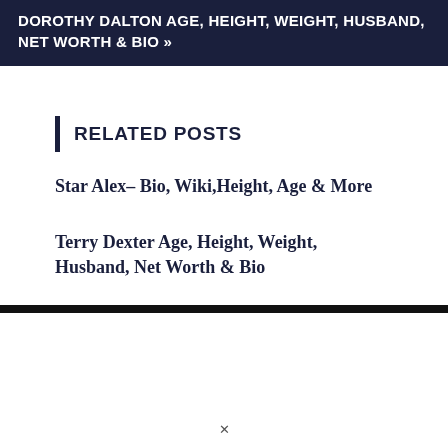DOROTHY DALTON AGE, HEIGHT, WEIGHT, HUSBAND, NET WORTH & BIO »
RELATED POSTS
Star Alex– Bio, Wiki,Height, Age & More
Terry Dexter Age, Height, Weight, Husband, Net Worth & Bio
Jack Goldenberg Age, Height, Weight, Husband, Net Worth & Bio